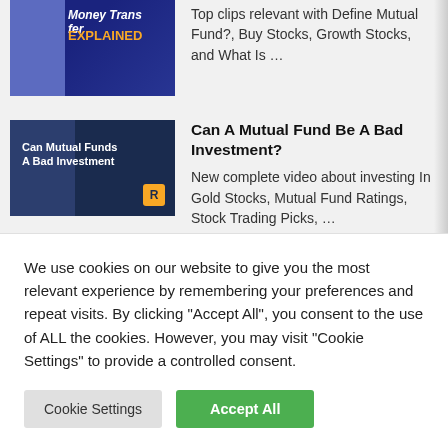Top clips relevant with Define Mutual Fund?, Buy Stocks, Growth Stocks, and What Is …
Can A Mutual Fund Be A Bad Investment?
New complete video about investing In Gold Stocks, Mutual Fund Ratings, Stock Trading Picks, …
Is Fixed Income (Bonds) Worth It? – Investing For Beginners 2022
We use cookies on our website to give you the most relevant experience by remembering your preferences and repeat visits. By clicking "Accept All", you consent to the use of ALL the cookies. However, you may visit "Cookie Settings" to provide a controlled consent.
Cookie Settings
Accept All